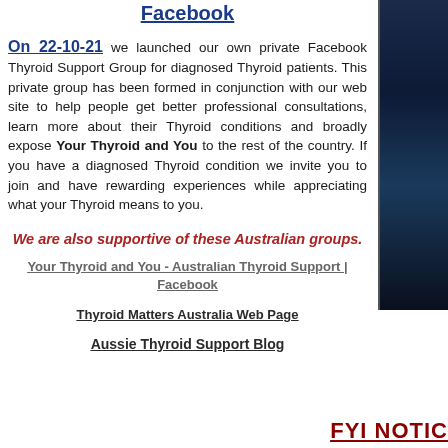Facebook
On 22-10-21 we launched our own private Facebook Thyroid Support Group for diagnosed Thyroid patients. This private group has been formed in conjunction with our web site to help people get better professional consultations, learn more about their Thyroid conditions and broadly expose Your Thyroid and You to the rest of the country. If you have a diagnosed Thyroid condition we invite you to join and have rewarding experiences while appreciating what your Thyroid means to you.
We are also supportive of these Australian groups.
Your Thyroid and You - Australian Thyroid Support | Facebook
Thyroid Matters Australia Web Page
Aussie Thyroid Support Blog
FYI NOTIC